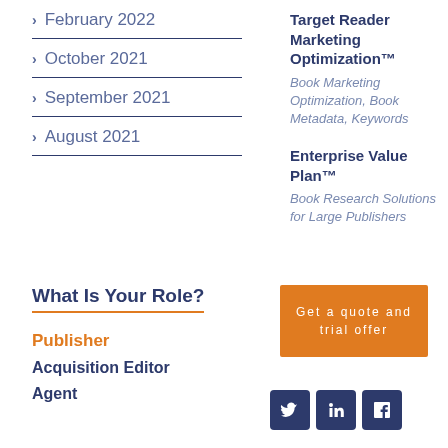February 2022
October 2021
September 2021
August 2021
Target Reader Marketing Optimization™
Book Marketing Optimization, Book Metadata, Keywords
Enterprise Value Plan™
Book Research Solutions for Large Publishers
What Is Your Role?
Get a quote and trial offer
Publisher
Acquisition Editor
Agent